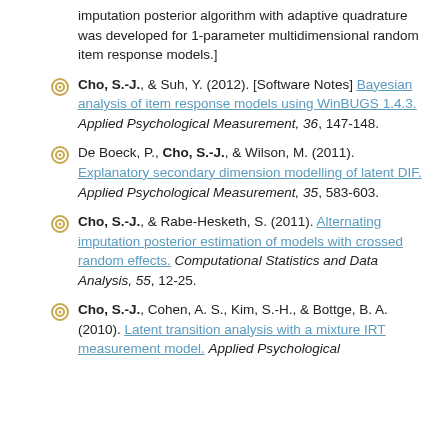imputation posterior algorithm with adaptive quadrature was developed for 1-parameter multidimensional random item response models.]
Cho, S.-J., & Suh, Y. (2012). [Software Notes] Bayesian analysis of item response models using WinBUGS 1.4.3. Applied Psychological Measurement, 36, 147-148.
De Boeck, P., Cho, S.-J., & Wilson, M. (2011). Explanatory secondary dimension modelling of latent DIF. Applied Psychological Measurement, 35, 583-603.
Cho, S.-J., & Rabe-Hesketh, S. (2011). Alternating imputation posterior estimation of models with crossed random effects. Computational Statistics and Data Analysis, 55, 12-25.
Cho, S.-J., Cohen, A. S., Kim, S.-H., & Bottge, B. A. (2010). Latent transition analysis with a mixture IRT measurement model. Applied Psychological